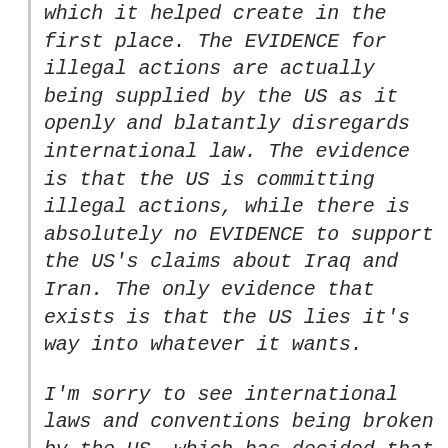which it helped create in the first place. The EVIDENCE for illegal actions are actually being supplied by the US as it openly and blatantly disregards international law. The evidence is that the US is committing illegal actions, while there is absolutely no EVIDENCE to support the US's claims about Iraq and Iran. The only evidence that exists is that the US lies it's way into whatever it wants.

I'm sorry to see international laws and conventions being broken by the US, which has decided that it